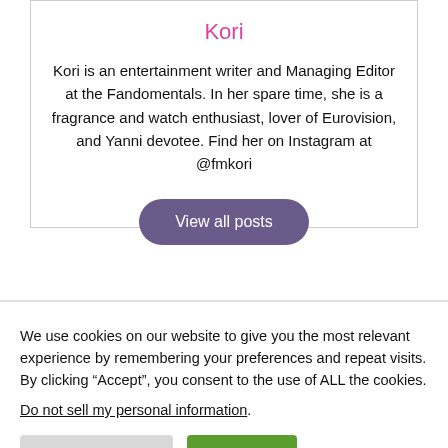Kori
Kori is an entertainment writer and Managing Editor at the Fandomentals. In her spare time, she is a fragrance and watch enthusiast, lover of Eurovision, and Yanni devotee. Find her on Instagram at @fmkori
View all posts
We use cookies on our website to give you the most relevant experience by remembering your preferences and repeat visits. By clicking “Accept”, you consent to the use of ALL the cookies.
Do not sell my personal information.
Cookie Settings
Accept